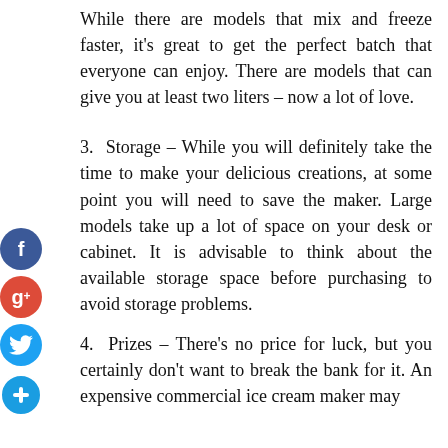While there are models that mix and freeze faster, it's great to get the perfect batch that everyone can enjoy. There are models that can give you at least two liters – now a lot of love.
3. Storage – While you will definitely take the time to make your delicious creations, at some point you will need to save the maker. Large models take up a lot of space on your desk or cabinet. It is advisable to think about the available storage space before purchasing to avoid storage problems.
4. Prizes – There's no price for luck, but you certainly don't want to break the bank for it. An expensive commercial ice cream maker may not be the most practical option, especially if